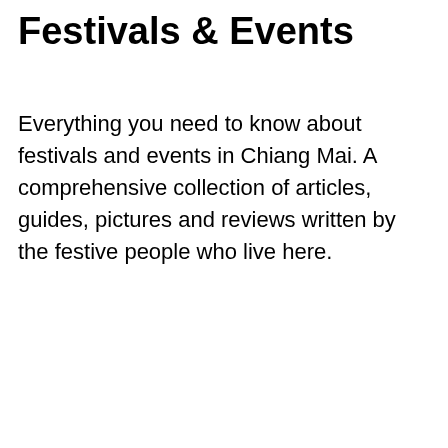Festivals & Events
Everything you need to know about festivals and events in Chiang Mai. A comprehensive collection of articles, guides, pictures and reviews written by the festive people who live here.